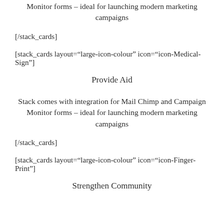Monitor forms – ideal for launching modern marketing campaigns
[/stack_cards]
[stack_cards layout="large-icon-colour" icon="icon-Medical-Sign"]
Provide Aid
Stack comes with integration for Mail Chimp and Campaign Monitor forms – ideal for launching modern marketing campaigns
[/stack_cards]
[stack_cards layout="large-icon-colour" icon="icon-Finger-Print"]
Strengthen Community